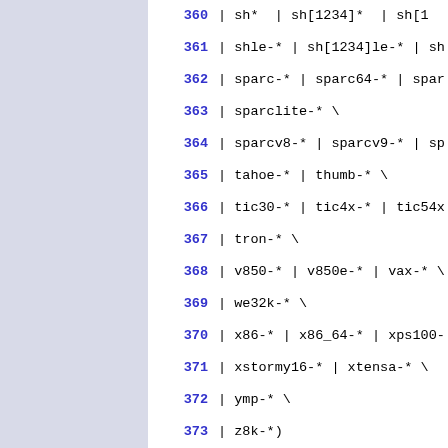360  | sh*  | sh[1234]* | sh[1...
361  | shle-* | sh[1234]le-* | sh...
362  | sparc-* | sparc64-* | spar...
363  | sparclite-* \
364  | sparcv8-* | sparcv9-* | sp...
365  | tahoe-* | thumb-* \
366  | tic30-* | tic4x-* | tic54x...
367  | tron-* \
368  | v850-* | v850e-* | vax-* \
369  | we32k-* \
370  | x86-* | x86_64-* | xps100-...
371  | xstormy16-* | xtensa-* \
372  | ymp-* \
373  | z8k-*)
374        ;;
375    # Recognize the various mach...
376    # for a CPU type and a compa...